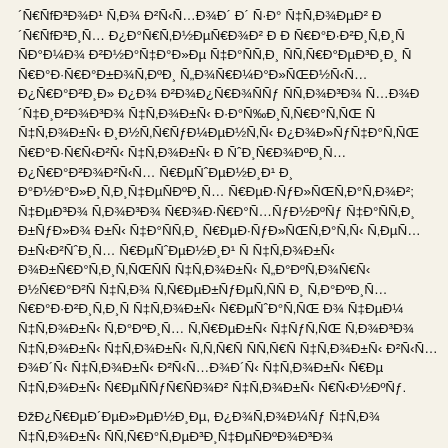´ÑÑfÐ³Ð¾Ð¹ Ñ Ð²Ñ<Ñ…Ð¾Ð´ Ð´ Ð· Ñ,ÑÐ°Ð¼Ð²Ð Ð²Ñ Ð Ð Ð·Ð¼ÑfÐ´ Ð·Ð° Ð¾Ð°Ð¾Ð³Ð¾Ð²Ñ-Ð¾ÑÐ Ð±ÑfÐ´ ÑÐ Ð²Ð½ÑfÑÑ Ð ÑÑ Ð¾Ð²Ð¼Ñ Ð½Ñ Ð¼Ñ Ð Ð¿Ð Ð Ð ÑÐÐ ÐµÐ Ð¼Ñ Ð Ñ Ð²Ð¾Ð Ð ÐµÑ Ð Ð½Ñ Ð¾ÑÑ Ñ Ðµ ÐÑ Ð²Ð¼ÑÑÐ Ð Ñ Ð¼Ñ Ð¾Ñ Ð Ð Ð Ñ Ð Ð¼Ñ Ñ Ð Ð¾Ñ Ñ Ð Ð¾Ð½Ñ Ñ Ð¾Ð Ð ÑÑfÑ Ñ Ð Ð Ñ Ñ Ð¾Ñ Ð Ð¾Ñ Ñ Ð¼Ñ Ð Ñ Ñ Ð¾Ñ Ñ Ñ ÐÑ Ñ Ð Ñ ÐµÑÐ Ñ Ñ Ñ Ð¾.
ÐžÐ¿Ñ Ñ Ñ, Ð¾Ñ Ñ Ð Ñ Ð²Ð Ð½ÑÑÐ Ñ Ðµ Ñ Ð¾Ð ÑÑÐ Ñ Ñ Ñ ÑÐ Ñ Ñ Ñ Ðµ Ñ Ð²Ð Ñ Ð ÑÑ Ñ ÑÐÑÐ¸Ð Ñ Ñ Ñ Ð¾ Ñ Ñ Ð Ñ Ð Ñ Ñ Ñ Ñ.
ÐžÐ´ Ñ Ð¾Ð¿Ð ÑÐ< ÑÐ¾Ñ Ñ ÐÐ ÑÑÑ Ñ Ñ Ñ Ñ Ñ Ð ÑÐÑ Ð¸Ð Ñ Ñ Ñ Ñ ÑÐ Ñ Ñ Ñ Ñ Ñ Ñ Ñ ÑÑ Ñ Ñ Ñ Ñ Ñ Ñ Ñ Ñ Ñ Ñ Ñ ÑÑÑ 18. Ñ Ñ Ñ Ñ Ñ Ñ Ñ Ñ Ñ Ñ Ñ Ñ Ñ Ñ Ñ Ñ Ñ Ñ Ñ Ñ â€" Ñ Ñ Ñ Ñ Ñ Ñ Ñ Ñ Ñ Ñ Ñ Ñ Ñ Ñ Ñ Ñ Ñ Ñ Ñ Ñ Ñ Ñ Ñ Ñ Ñ Ñ Ñ Ñ Ñ Ñ Ñ Ñ Ñ Ñ Ñ Ñ Ñ Ñ...